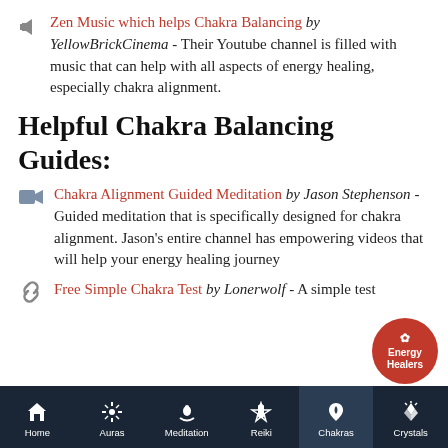Zen Music which helps Chakra Balancing by YellowBrickCinema - Their Youtube channel is filled with music that can help with all aspects of energy healing, especially chakra alignment.
Helpful Chakra Balancing Guides:
Chakra Alignment Guided Meditation by Jason Stephenson - Guided meditation that is specifically designed for chakra alignment. Jason's entire channel has empowering videos that will help your energy healing journey
Free Simple Chakra Test by Lonerwolf - A simple test
[Figure (screenshot): Mobile app navigation bar with icons for Home, Auras, Meditation, Reiki, Chakras (active), Crystals on a dark navy background]
[Figure (logo): Energy Healers circular red logo badge in bottom right corner]